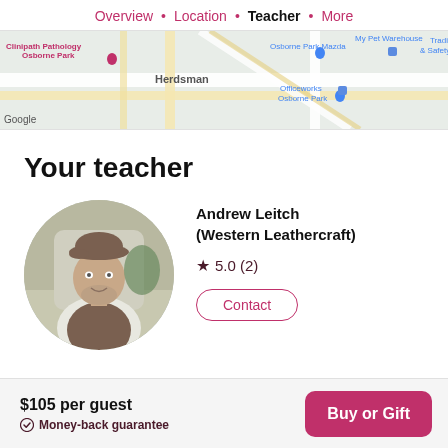Overview · Location · Teacher · More
[Figure (map): Google Maps screenshot showing Herdsman area with Clinipath Pathology Osborne Park, Osborne Park Mazda, Tradies Workwear & Safety - Perth, My Pet Warehouse, Officeworks Osborne Park]
Your teacher
[Figure (photo): Circular portrait photo of Andrew Leitch, a man wearing a brown flat cap and brown vest over a white shirt, smiling slightly]
Andrew Leitch (Western Leathercraft)
★ 5.0 (2)
Contact
$105 per guest
Money-back guarantee
Buy or Gift